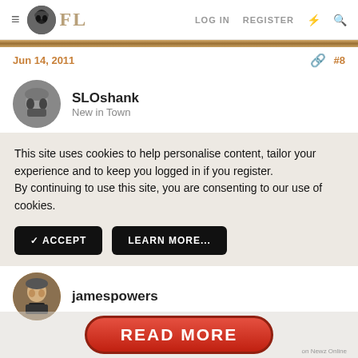FL  LOG IN  REGISTER
Jun 14, 2011  #8
SLOshank
New in Town
This site uses cookies to help personalise content, tailor your experience and to keep you logged in if you register.
By continuing to use this site, you are consenting to our use of cookies.
✓ ACCEPT    LEARN MORE...
jamespowers